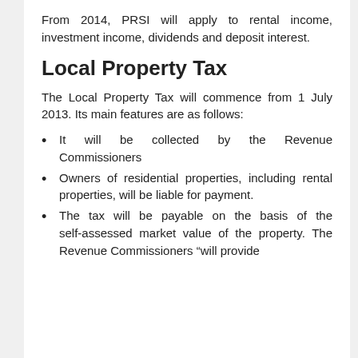From 2014, PRSI will apply to rental income, investment income, dividends and deposit interest.
Local Property Tax
The Local Property Tax will commence from 1 July 2013. Its main features are as follows:
It will be collected by the Revenue Commissioners
Owners of residential properties, including rental properties, will be liable for payment.
The tax will be payable on the basis of the self-assessed market value of the property. The Revenue Commissioners “will provide